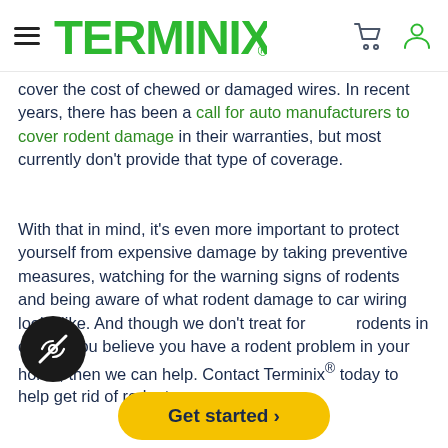Terminix navigation header with logo, hamburger menu, cart icon, and user icon
cover the cost of chewed or damaged wires. In recent years, there has been a call for auto manufacturers to cover rodent damage in their warranties, but most currently don't provide that type of coverage.
With that in mind, it's even more important to protect yourself from expensive damage by taking preventive measures, watching for the warning signs of rodents and being aware of what rodent damage to car wiring looks like. And though we don't treat for rodents in cars, if you believe you have a rodent problem in your home, then we can help. Contact Terminix® today to help get rid of rodents.
Get started ›